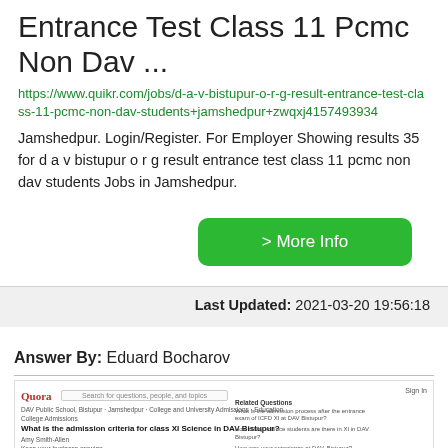Entrance Test Class 11 Pcmc Non Dav ...
https://www.quikr.com/jobs/d-a-v-bistupur-o-r-g-result-entrance-test-class-11-pcmc-non-dav-students+jamshedpur+zwqxj4157493934
Jamshedpur. Login/Register. For Employer Showing results 35 for d a v bistupur o r g result entrance test class 11 pcmc non dav students Jobs in Jamshedpur.
> More Info
Last Updated: 2021-03-20 19:56:18
Answer By: Eduard Bocharov
[Figure (screenshot): Screenshot of a Quora page showing a question about admission criteria for class XI Science in DAV Bistupur, with related questions on the right side.]